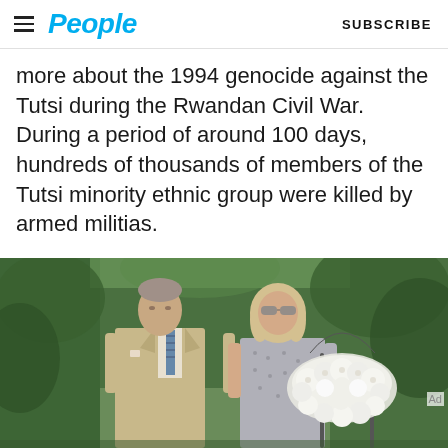People — SUBSCRIBE
more about the 1994 genocide against the Tutsi during the Rwandan Civil War. During a period of around 100 days, hundreds of thousands of members of the Tutsi minority ethnic group were killed by armed militias.
[Figure (photo): Two people standing outdoors in front of greenery. On the left, an older man wearing a beige/tan suit with a blue striped tie. On the right, a woman with blonde hair wearing sunglasses and a grey patterned dress. Between them and to the right is a large floral wreath of white roses on a metal stand.]